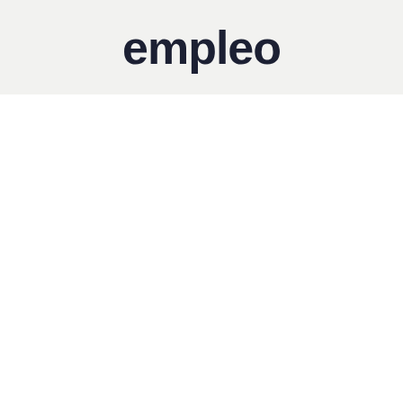[Figure (logo): Empleo logo — the word 'empleo' in large dark navy sans-serif text on a light grey background band]